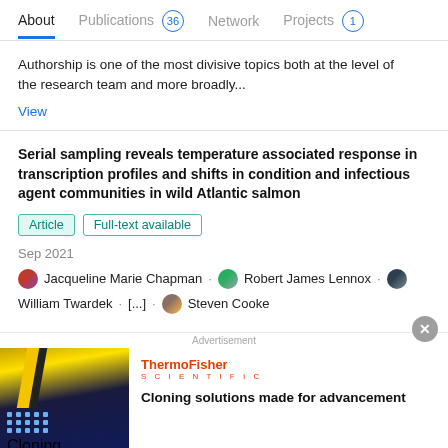About  Publications 36  Network  Projects 1
Authorship is one of the most divisive topics both at the level of the research team and more broadly...
View
Serial sampling reveals temperature associated response in transcription profiles and shifts in condition and infectious agent communities in wild Atlantic salmon
Article  Full-text available
Sep 2021
Jacqueline Marie Chapman · Robert James Lennox · William Twardek · [...] · Steven Cooke
[Figure (screenshot): Advertisement banner for ThermoFisher Scientific showing 'Cloning solutions made for advancement' with a dark blue and gold product image on the left side.]